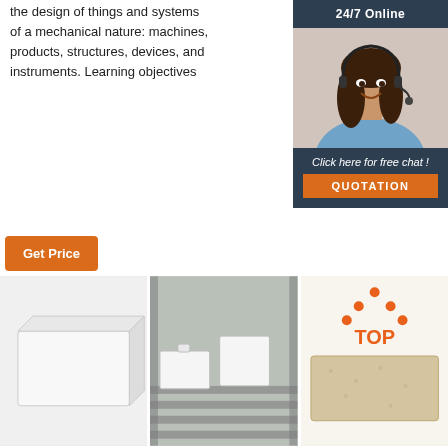the design of things and systems of a mechanical nature: machines, products, structures, devices, and instruments. Learning objectives
[Figure (photo): Customer service representative with headset, 24/7 Online chat widget with QUOTATION button]
[Figure (other): Get Price orange button]
[Figure (photo): White rectangular block/brick product photo]
[Figure (photo): Industrial equipment with white blocks on a conveyor/rack system]
[Figure (photo): Beige/tan rectangular stone or ceramic brick with TOP orange logo overlay]